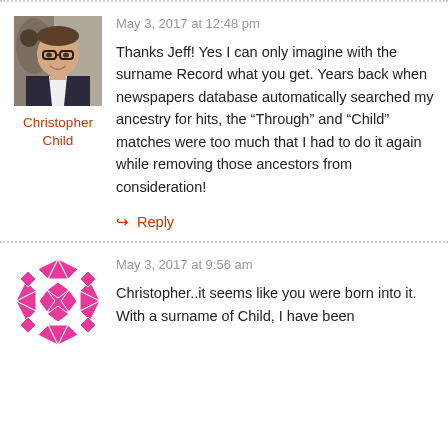May 3, 2017 at 12:48 pm
[Figure (photo): Profile photo of a smiling man with glasses wearing a suit, with a decorative background.]
Christopher Child
Thanks Jeff! Yes I can only imagine with the surname Record what you get. Years back when newspapers database automatically searched my ancestry for hits, the “Through” and “Child” matches were too much that I had to do it again while removing those ancestors from consideration!
↳ Reply
May 3, 2017 at 9:56 am
[Figure (illustration): Pink geometric quilt-pattern style avatar icon.]
Christopher..it seems like you were born into it. With a surname of Child, I have been